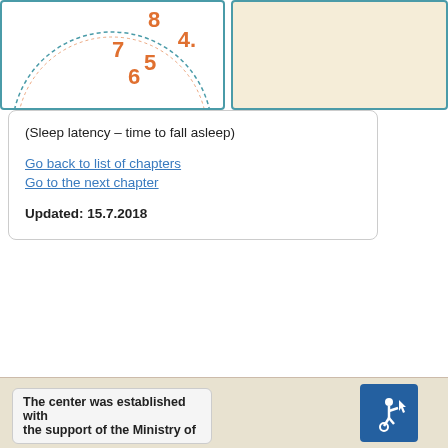[Figure (illustration): Partial clock face showing numbers 4, 5, 6, 7, 8 in orange, with dotted circle border in teal/orange]
[Figure (illustration): Beige/cream colored panel on the right side]
(Sleep latency – time to fall asleep)
Go back to list of chapters
Go to the next chapter
Updated: 15.7.2018
The center was established with the support of the Ministry of
[Figure (illustration): Accessibility icon: wheelchair user with arrow cursor, blue background with white border]